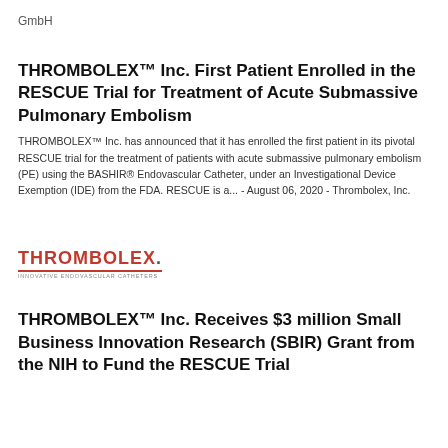GmbH
THROMBOLEX™ Inc. First Patient Enrolled in the RESCUE Trial for Treatment of Acute Submassive Pulmonary Embolism
THROMBOLEX™ Inc. has announced that it has enrolled the first patient in its pivotal RESCUE trial for the treatment of patients with acute submassive pulmonary embolism (PE) using the BASHIR® Endovascular Catheter, under an Investigational Device Exemption (IDE) from the FDA. RESCUE is a... - August 06, 2020 - Thrombolex, Inc.
[Figure (logo): Thrombolex logo with red text and tagline 'Innovative Endovascular Catheters']
THROMBOLEX™ Inc. Receives $3 million Small Business Innovation Research (SBIR) Grant from the NIH to Fund the RESCUE Trial